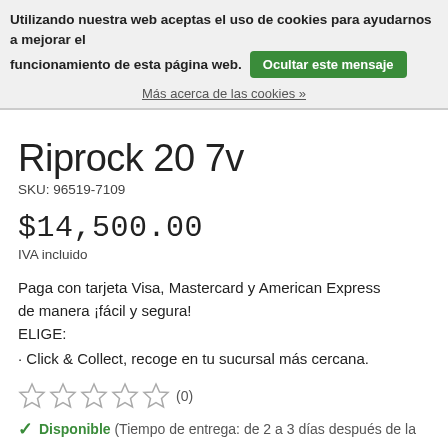Utilizando nuestra web aceptas el uso de cookies para ayudarnos a mejorar el funcionamiento de esta página web. Ocultar este mensaje
Más acerca de las cookies »
Riprock 20 7v
SKU: 96519-7109
$14,500.00
IVA incluido
Paga con tarjeta Visa, Mastercard y American Express de manera ¡fácil y segura!
ELIGE:
· Click & Collect, recoge en tu sucursal más cercana.
☆☆☆☆☆ (0)
✓ Disponible (Tiempo de entrega: de 2 a 3 días después de la